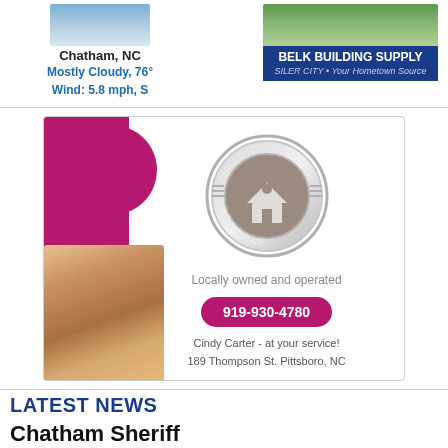Chatham, NC
Mostly Cloudy, 76°
Wind: 5.8 mph, S
[Figure (illustration): Belk Building Supply advertisement banner with blue background, text: BELK BUILDING SUPPLY, SILER CITY • Your Hometown Source]
[Figure (illustration): Circle City Insurance advertisement with magenta left panel, circular shield logo, photo of Cindy Carter, phone number 919-930-4780, text: Locally owned and operated, Cindy Carter - at your service!, 189 Thompson St. Pittsboro, NC]
LATEST NEWS
Chatham Sheriff